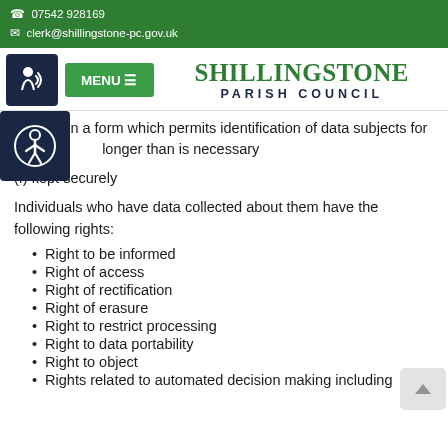07542 928169
clerk@shillingstone-pc.gov.uk
[Figure (screenshot): Shillingstone Parish Council website header with accessibility icon, MENU button, and council name/logo]
(e) kept in a form which permits identification of data subjects for longer than is necessary
(f) kept securely
Individuals who have data collected about them have the following rights:
Right to be informed
Right of access
Right of rectification
Right of erasure
Right to restrict processing
Right to data portability
Right to object
Rights related to automated decision making including